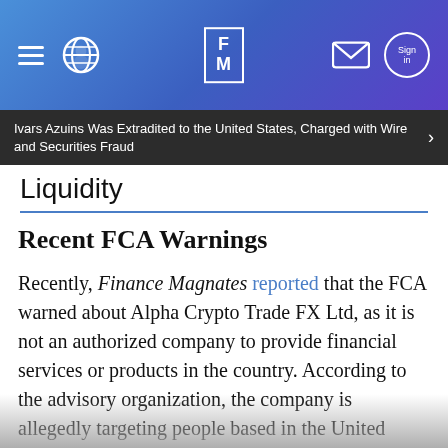[Figure (screenshot): Finance Magnates website navigation bar with hamburger menu, globe icon, FM logo, envelope icon, and sign-in button on a blue-purple gradient background]
Ivars Azuins Was Extradited to the United States, Charged with Wire and Securities Fraud
Liquidity
Recent FCA Warnings
Recently, Finance Magnates reported that the FCA warned about Alpha Crypto Trade FX Ltd, as it is not an authorized company to provide financial services or products in the country. According to the advisory organization, the company is allegedly targeting people based in the United Kingdom.